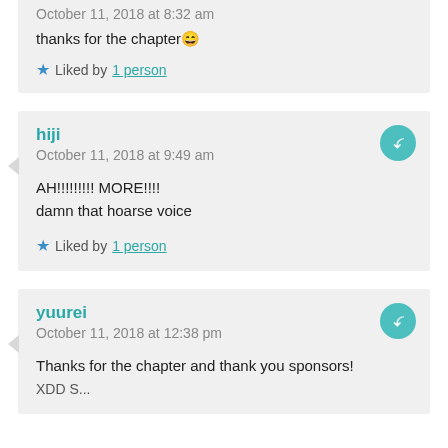October 11, 2018 at 8:32 am
thanks for the chapter 😄
Liked by 1 person
hiji
October 11, 2018 at 9:49 am
AH!!!!!!!!! MORE!!!!
damn that hoarse voice
Liked by 1 person
yuurei
October 11, 2018 at 12:38 pm
Thanks for the chapter and thank you sponsors!